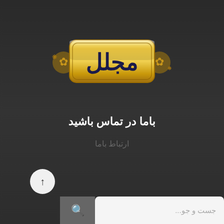[Figure (logo): Golden ornate logo with Arabic text 'مجلل' on a metallic gold badge with decorative flourishes on dark background]
باما در تماس باشید
ارتباط باما
[Figure (screenshot): Bottom navigation bar with up arrow button, search icon, and search input field with placeholder text 'جست و جو...']